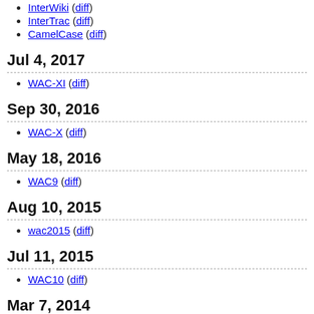InterWiki (diff)
InterTrac (diff)
CamelCase (diff)
Jul 4, 2017
WAC-XI (diff)
Sep 30, 2016
WAC-X (diff)
May 18, 2016
WAC9 (diff)
Aug 10, 2015
wac2015 (diff)
Jul 11, 2015
WAC10 (diff)
Mar 7, 2014